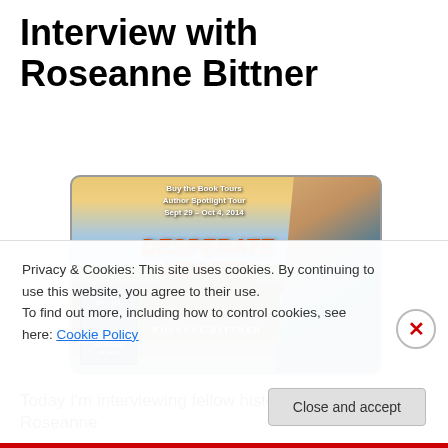Interview with Roseanne Bittner
[Figure (illustration): Buy the Book Tours Author Spotlight Tour Sept 29 - Oct 4, 2014 banner featuring 'Desperate Hearts' by Rosanne Bittner. Shows a shirtless man in an open blue shirt with a mountain/waterfall background, and a smaller book cover image on the left.]
Today I'm interviewing fellow historical author Roseanne
Privacy & Cookies: This site uses cookies. By continuing to use this website, you agree to their use.
To find out more, including how to control cookies, see here: Cookie Policy
Close and accept